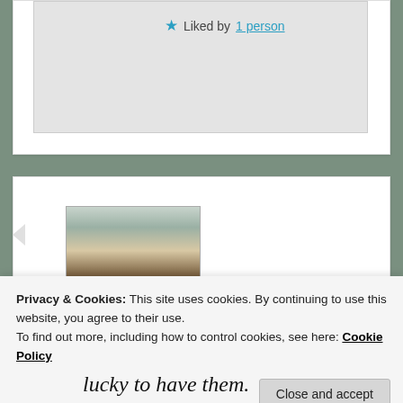[Figure (screenshot): Top card area with light gray inner box showing a Liked by 1 person button with a blue star icon]
★ Liked by 1 person
[Figure (photo): A person sitting on a porch with flowers, thumbnail avatar image]
Privacy & Cookies: This site uses cookies. By continuing to use this website, you agree to their use.
To find out more, including how to control cookies, see here: Cookie Policy
Close and accept
lucky to have them.